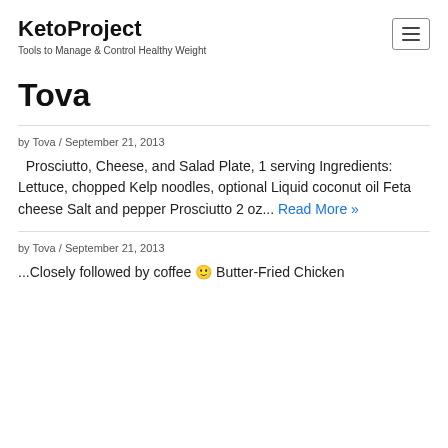KetoProject
Tools to Manage & Control Healthy Weight
Tova
by Tova / September 21, 2013
Prosciutto, Cheese, and Salad Plate, 1 serving Ingredients: Lettuce, chopped Kelp noodles, optional Liquid coconut oil Feta cheese Salt and pepper Prosciutto 2 oz... Read More »
by Tova / September 21, 2013
...Closely followed by coffee 🙂 Butter-Fried Chicken